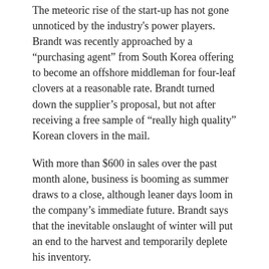The meteoric rise of the start-up has not gone unnoticed by the industry's power players. Brandt was recently approached by a “purchasing agent” from South Korea offering to become an offshore middleman for four-leaf clovers at a reasonable rate. Brandt turned down the supplier’s proposal, but not after receiving a free sample of “really high quality” Korean clovers in the mail.
With more than $600 in sales over the past month alone, business is booming as summer draws to a close, although leaner days loom in the company’s immediate future. Brandt says that the inevitable onslaught of winter will put an end to the harvest and temporarily deplete his inventory.
But come spring, the yard will be lush with a new generation of clovers waiting to be paired with another wave of customers.